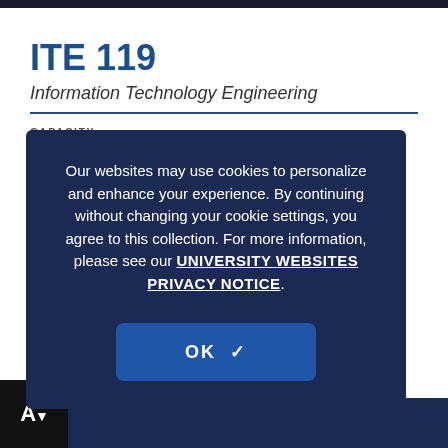ITE 119
Information Technology Engineering
CAPACITY
36
VIDEO CONFERENCING
Non-
WEBEX OR TEAMS OR ZOOM
Audio & Content Only
LECTURE CAPTURE
Self-Service Recording
Our websites may use cookies to personalize and enhance your experience. By continuing without changing your cookie settings, you agree to this collection. For more information, please see our UNIVERSITY WEBSITES PRIVACY NOTICE.
OK ✓